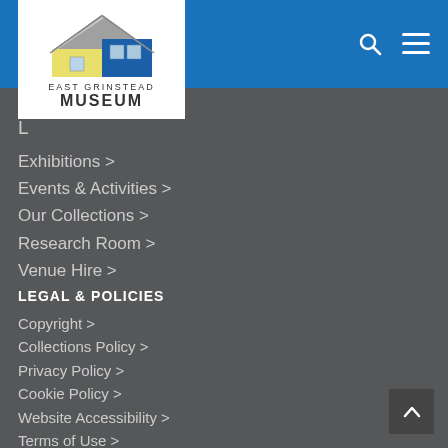[Figure (logo): East Grinstead Museum logo — stylized house graphic in yellow and blue with text 'EAST GRINSTEAD MUSEUM' below]
Exhibitions >
Events & Activities >
Our Collections >
Research Room >
Venue Hire >
LEGAL & POLICIES
Copyright >
Collections Policy >
Privacy Policy >
Cookie Policy >
Website Accessibility >
Terms of Use >
Safeguarding >